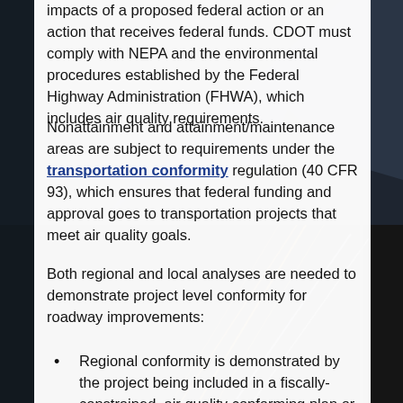impacts of a proposed federal action or an action that receives federal funds. CDOT must comply with NEPA and the environmental procedures established by the Federal Highway Administration (FHWA), which includes air quality requirements.
Nonattainment and attainment/maintenance areas are subject to requirements under the transportation conformity regulation (40 CFR 93), which ensures that federal funding and approval goes to transportation projects that meet air quality goals.
Both regional and local analyses are needed to demonstrate project level conformity for roadway improvements:
Regional conformity is demonstrated by the project being included in a fiscally-constrained, air quality conforming plan or program to